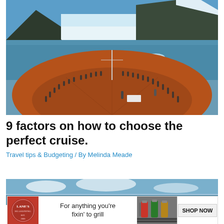[Figure (photo): Aerial view of cruise ship bow deck crowded with passengers looking at a glacier in icy blue water, snow-capped mountains in background]
9 factors on how to choose the perfect cruise.
Travel tips & Budgeting / By Melinda Meade
[Figure (photo): Partial second photo, blue sky and clouds]
[Figure (photo): Lane's BBQ seasoning advertisement: For anything you're fixin' to grill — SHOP NOW]